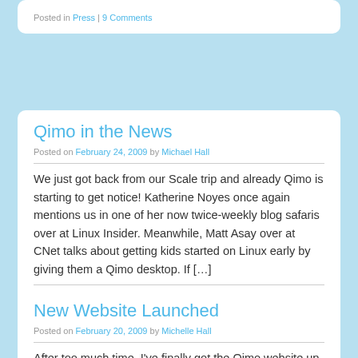Posted in Press | 9 Comments
Qimo in the News
Posted on February 24, 2009 by Michael Hall
We just got back from our Scale trip and already Qimo is starting to get notice! Katherine Noyes once again mentions us in one of her now twice-weekly blog safaris over at Linux Insider.  Meanwhile, Matt Asay over at CNet talks about getting kids started on Linux early by giving them a Qimo desktop. If […]
Posted in Press | 9 Comments
New Website Launched
Posted on February 20, 2009 by Michelle Hall
After too much time, I've finally got the Qimo website up...